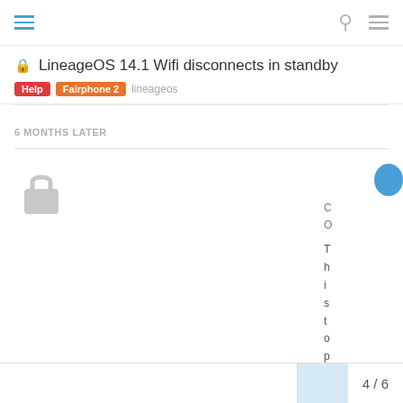LineageOS 14.1 Wifi disconnects in standby
Help | Fairphone 2 | lineageos
6 MONTHS LATER
[Figure (illustration): Lock icon indicating closed/locked topic]
This topic has been automatically closed after reaching the maximum time without replies. If you have a question related to this topic, please open a new topic.
4 / 6